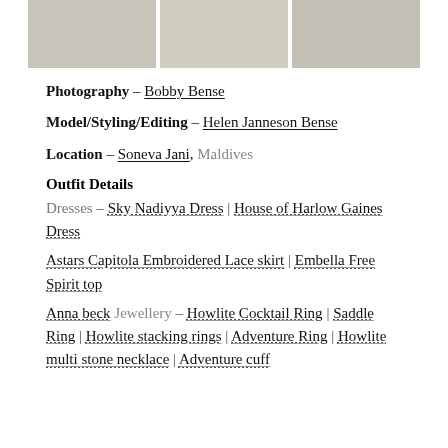[Figure (photo): Three product photos of gold jewelry items arranged in a row]
Photography – Bobby Bense
Model/Styling/Editing – Helen Janneson Bense
Location – Soneva Jani, Maldives
Outfit Details
Dresses – Sky Nadiyya Dress | House of Harlow Gaines Dress
Astars Capitola Embroidered Lace skirt | Embella Free Spirit top
Anna beck Jewellery – Howlite Cocktail Ring | Saddle Ring | Howlite stacking rings | Adventure Ring | Howlite multi stone necklace | Adventure cuff